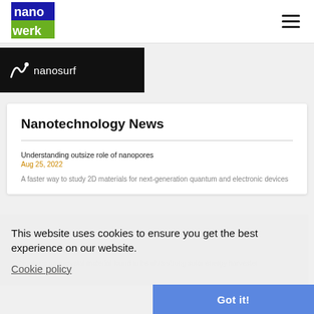[Figure (logo): nanowerk logo - blue and green text on white background]
[Figure (logo): nanosurf logo - white text and symbol on black background]
Nanotechnology News
Understanding outsize role of nanopores
Aug 25, 2022
A faster way to study 2D materials for next-generation quantum and electronic devices
This website uses cookies to ensure you get the best experience on our website.
Cookie policy
Nontoxic nanocrystal material found to be ultra-strong solar energy harvester
Aug 25, 2022
Got it!